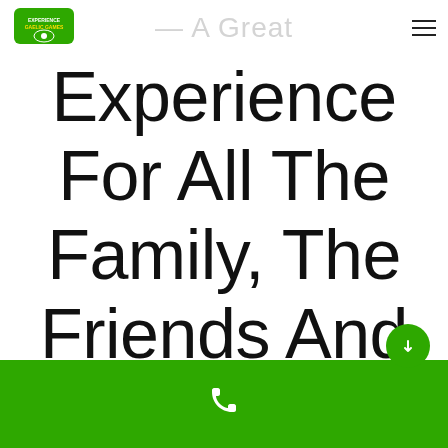— A Great
Experience For All The Family, The Friends And The Trend
[Figure (logo): Experience Gaelic Games green logo with text]
Phone contact bar with phone icon